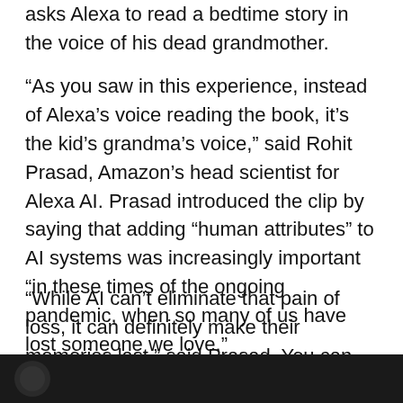asks Alexa to read a bedtime story in the voice of his dead grandmother.
“As you saw in this experience, instead of Alexa’s voice reading the book, it’s the kid’s grandma’s voice,” said Rohit Prasad, Amazon’s head scientist for Alexa AI. Prasad introduced the clip by saying that adding “human attributes” to AI systems was increasingly important “in these times of the ongoing pandemic, when so many of us have lost someone we love.”
“While AI can’t eliminate that pain of loss, it can definitely make their memories last,” said Prasad. You can watch the demo itself below:
[Figure (screenshot): Dark video player bar at the bottom of the page, showing the beginning of a video thumbnail.]